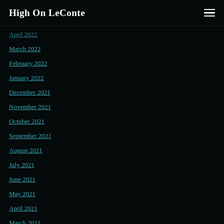High On LeConte
April 2022
March 2022
February 2022
January 2022
December 2021
November 2021
October 2021
September 2021
August 2021
July 2021
June 2021
May 2021
April 2021
March 2021
February 2021
January 2021
December 2020